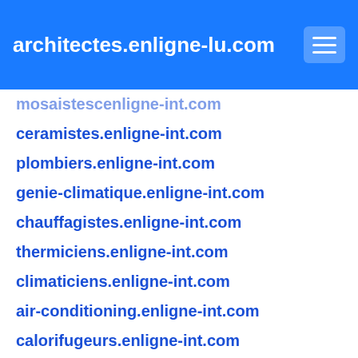architectes.enligne-lu.com
mosaistescenligne-int.com
ceramistes.enligne-int.com
plombiers.enligne-int.com
genie-climatique.enligne-int.com
chauffagistes.enligne-int.com
thermiciens.enligne-int.com
climaticiens.enligne-int.com
air-conditioning.enligne-int.com
calorifugeurs.enligne-int.com
conditionnement-d-air.enligne-int.com
frigoristes.enligne-int.com
froid-industriel.enligne-int.com
techniciens-frigoristes.enligne-int.com
vmc.enligne-int.com